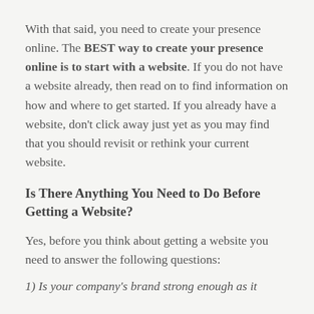With that said, you need to create your presence online. The BEST way to create your presence online is to start with a website. If you do not have a website already, then read on to find information on how and where to get started. If you already have a website, don't click away just yet as you may find that you should revisit or rethink your current website.
Is There Anything You Need to Do Before Getting a Website?
Yes, before you think about getting a website you need to answer the following questions:
1) Is your company's brand strong enough as it